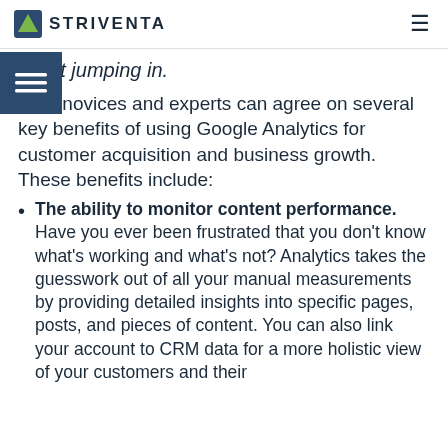STRIVENTA
resist jumping in.
Both novices and experts can agree on several key benefits of using Google Analytics for customer acquisition and business growth. These benefits include:
The ability to monitor content performance. Have you ever been frustrated that you don't know what's working and what's not? Analytics takes the guesswork out of all your manual measurements by providing detailed insights into specific pages, posts, and pieces of content. You can also link your account to CRM data for a more holistic view of your customers and their [behavior].